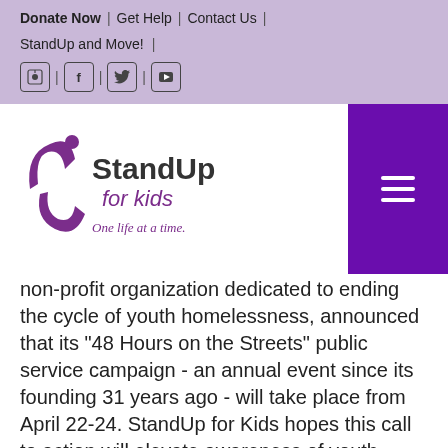Donate Now | Get Help | Contact Us | StandUp and Move! |
[Figure (logo): StandUp for Kids logo with tagline 'One life at a time.']
non-profit organization dedicated to ending the cycle of youth homelessness, announced that its "48 Hours on the Streets" public service campaign - an annual event since its founding 31 years ago - will take place from April 22-24. StandUp for Kids hopes this call to action will elevate awareness of youth homelessness and the dangers typically faced in the first two days without shelter,